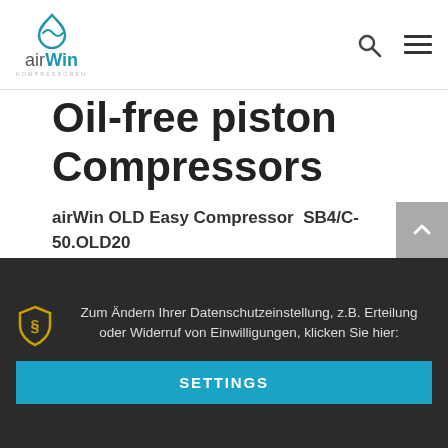airWin logo with search and menu icons
Oil-free piston Compressors
airWin OLD Easy Compressor  SB4/C-50.OLD20
Zum Ändern Ihrer Datenschutzeinstellung, z.B. Erteilung oder Widerruf von Einwilligungen, klicken Sie hier:
SETTINGS